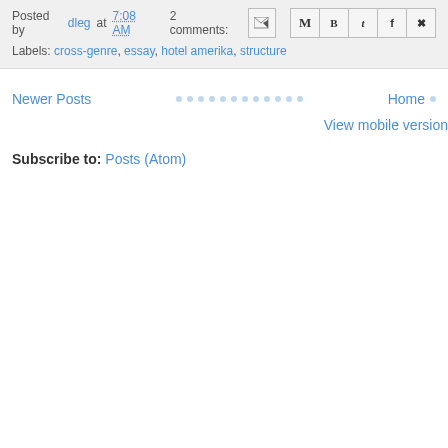Posted by dleg at 7:08 AM   2 comments:
Labels: cross-genre, essay, hotel amerika, structure
Newer Posts · · · · · · · · · · · · Home ·
View mobile version
Subscribe to: Posts (Atom)